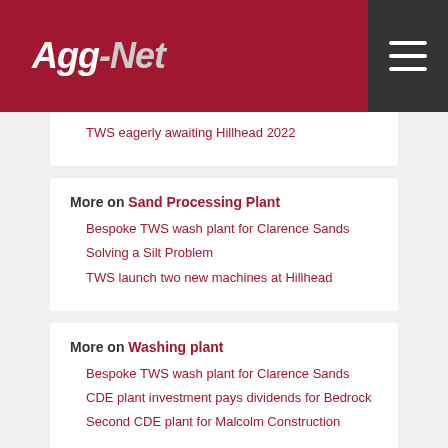Agg-Net
TWS eagerly awaiting Hillhead 2022
More on Sand Processing Plant
Bespoke TWS wash plant for Clarence Sands
Solving a Silt Problem
TWS launch two new machines at Hillhead
More on Washing plant
Bespoke TWS wash plant for Clarence Sands
CDE plant investment pays dividends for Bedrock
Second CDE plant for Malcolm Construction